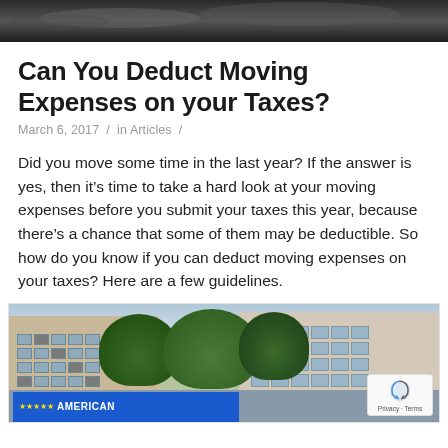[Figure (photo): Dark stormy sky background image with watermark text '© AM MEDIA GROUP']
Can You Deduct Moving Expenses on your Taxes?
March 6, 2017  /  in Articles  /
Did you move some time in the last year? If the answer is yes, then it's time to take a hard look at your moving expenses before you submit your taxes this year, because there's a chance that some of them may be deductible. So how do you know if you can deduct moving expenses on your taxes? Here are a few guidelines.
[Figure (photo): Street-level photo of apartment buildings with trees in foreground and American moving truck visible at bottom]